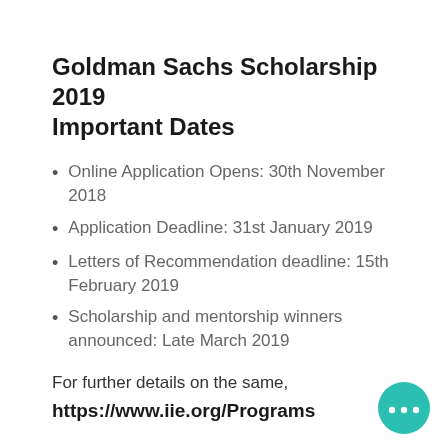Goldman Sachs Scholarship 2019 Important Dates
Online Application Opens: 30th November 2018
Application Deadline: 31st January 2019
Letters of Recommendation deadline: 15th February 2019
Scholarship and mentorship winners announced: Late March 2019
For further details on the same,
https://www.iie.org/Programs
[Figure (illustration): Teal chat bubble icon with three dots, positioned bottom-right corner]